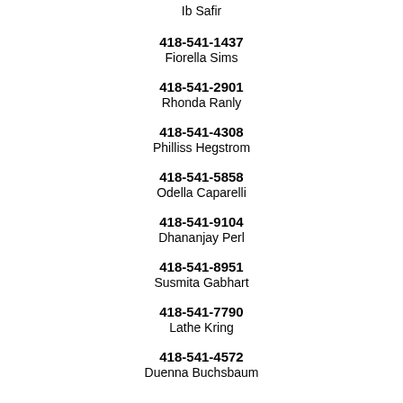Ib Safir
418-541-1437
Fiorella Sims
418-541-2901
Rhonda Ranly
418-541-4308
Philliss Hegstrom
418-541-5858
Odella Caparelli
418-541-9104
Dhananjay Perl
418-541-8951
Susmita Gabhart
418-541-7790
Lathe Kring
418-541-4572
Duenna Buchsbaum